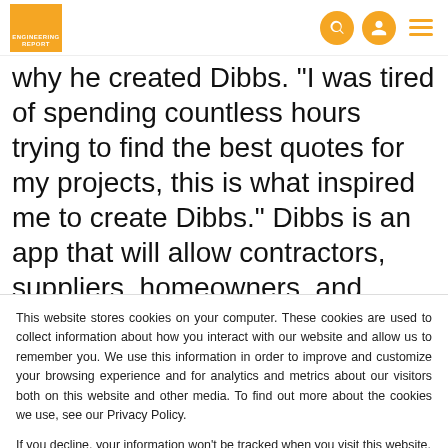ENGINEERING REPORT
why he created Dibbs. "I was tired of spending countless hours trying to find the best quotes for my projects, this is what inspired me to create Dibbs." Dibbs is an app that will allow contractors, suppliers, homeowners, and more, to find the people and projects that they want to work with. "With our built-in bidding templates, we cut the time it takes to
This website stores cookies on your computer. These cookies are used to collect information about how you interact with our website and allow us to remember you. We use this information in order to improve and customize your browsing experience and for analytics and metrics about our visitors both on this website and other media. To find out more about the cookies we use, see our Privacy Policy.
If you decline, your information won’t be tracked when you visit this website. A single cookie will be used in your browser to remember your preference not to be tracked.